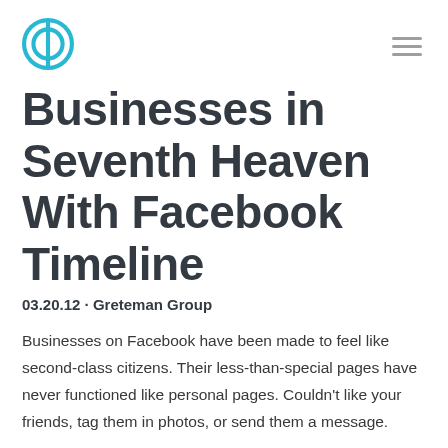[Greteman Group logo] [hamburger menu]
Businesses in Seventh Heaven With Facebook Timeline
03.20.12 · Greteman Group
Businesses on Facebook have been made to feel like second-class citizens. Their less-than-special pages have never functioned like personal pages. Couldn't like your friends, tag them in photos, or send them a message.